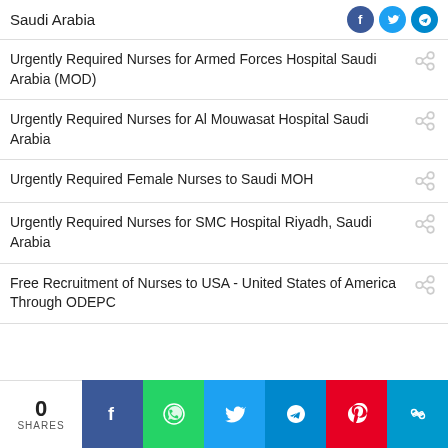Saudi Arabia
Urgently Required Nurses for Armed Forces Hospital Saudi Arabia (MOD)
Urgently Required Nurses for Al Mouwasat Hospital Saudi Arabia
Urgently Required Female Nurses to Saudi MOH
Urgently Required Nurses for SMC Hospital Riyadh, Saudi Arabia
Free Recruitment of Nurses to USA - United States of America Through ODEPC
0 SHARES | Facebook | WhatsApp | Twitter | Telegram | Pinterest | Copy Link